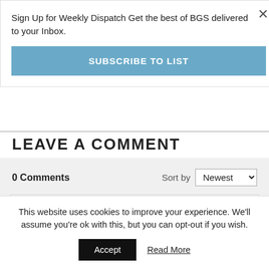Sign Up for Weekly Dispatch Get the best of BGS delivered to your Inbox.
SUBSCRIBE TO LIST
LEAVE A COMMENT
0 Comments
Sort by Newest
Add a comment...
This website uses cookies to improve your experience. We'll assume you're ok with this, but you can opt-out if you wish.
Accept
Read More